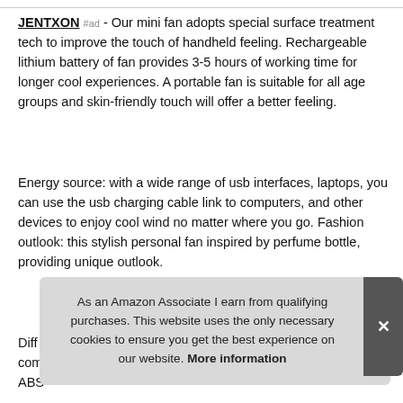JENTXON #ad - Our mini fan adopts special surface treatment tech to improve the touch of handheld feeling. Rechargeable lithium battery of fan provides 3-5 hours of working time for longer cool experiences. A portable fan is suitable for all age groups and skin-friendly touch will offer a better feeling.
Energy source: with a wide range of usb interfaces, laptops, you can use the usb charging cable link to computers, and other devices to enjoy cool wind no matter where you go. Fashion outlook: this stylish personal fan inspired by perfume bottle, providing unique outlook.
Diff[erential] com[patible] ABS [...
As an Amazon Associate I earn from qualifying purchases. This website uses the only necessary cookies to ensure you get the best experience on our website. More information